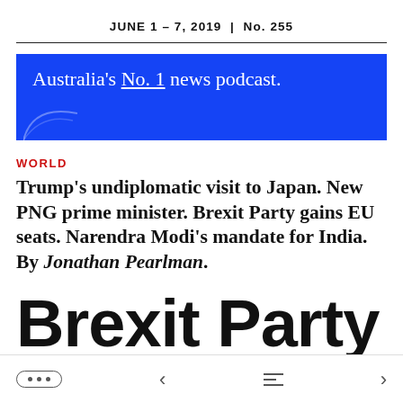JUNE 1 – 7, 2019  |  No. 255
[Figure (other): Blue banner advertisement: Australia's No. 1 news podcast. with decorative arc in bottom left corner.]
WORLD
Trump's undiplomatic visit to Japan. New PNG prime minister. Brexit Party gains EU seats. Narendra Modi's mandate for India. By Jonathan Pearlman.
Brexit Party